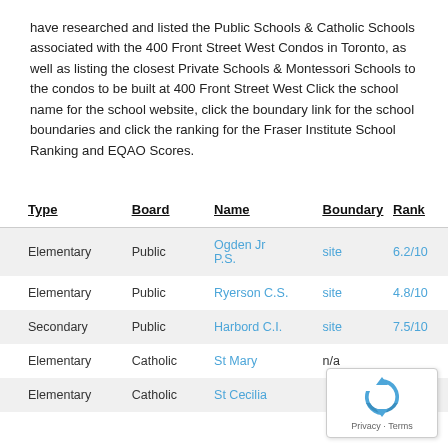have researched and listed the Public Schools & Catholic Schools associated with the 400 Front Street West Condos in Toronto, as well as listing the closest Private Schools & Montessori Schools to the condos to be built at 400 Front Street West Click the school name for the school website, click the boundary link for the school boundaries and click the ranking for the Fraser Institute School Ranking and EQAO Scores.
| Type | Board | Name | Boundary | Rank |
| --- | --- | --- | --- | --- |
| Elementary | Public | Ogden Jr P.S. | site | 6.2/10 |
| Elementary | Public | Ryerson C.S. | site | 4.8/10 |
| Secondary | Public | Harbord C.I. | site | 7.5/10 |
| Elementary | Catholic | St Mary | n/a |  |
| Elementary | Catholic | St Cecilia |  | 7.8/10 |